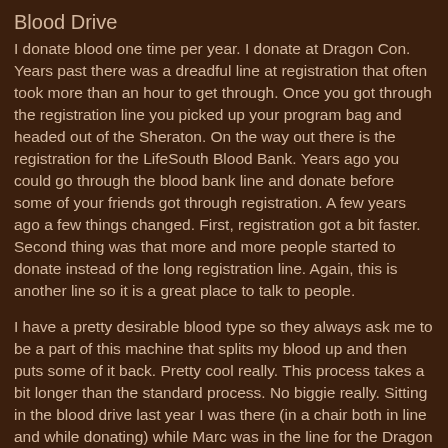Blood Drive
I donate blood one time per year.  I donate at Dragon Con.  Years past there was a dreadful line at registration that often took more than an hour to get through.  Once you got through the registration line you picked up your program bag and headed out of the Sheraton.  On the way out there is the registration for the LifeSouth Blood Bank.  Years ago you could go through the blood bank  line and donate before some of your friends got through registration.  A few years ago a few things changed.  First, registration got a bit faster.  Second thing was that more and more people started to donate instead of the long registration line. Again, this is another line so it is a great place to talk to people.
I have a pretty desirable blood type so they always ask me to be a part of this machine that splits my blood up and then puts some of it back.  Pretty cool really.  This process takes a bit longer than the standard process.  No biggie really.  Sitting in the blood drive last year I was there (in a chair both in line and while donating) while Marc was in the line for the Dragon Con store.  LOLOLOL  He got done about 10 minutes before I did and he was standing in line the whole